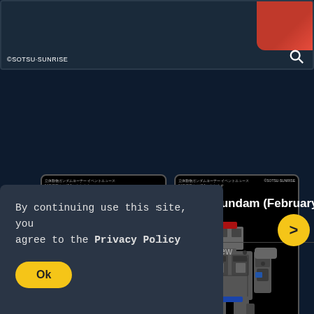[Figure (screenshot): Top banner with dark background, red accent in top-right corner, ©SOTSU·SUNRISE copyright text at bottom-left, and search icon at bottom-right]
©SOTSU·SUNRISE
[Figure (photo): Carousel showing two Gundam model figures: left card shows a white/colored RX-78 Gundam holding a shield and beam saber on black background; right card shows a detailed internal frame/skeleton Gundam model in grey on black background. Yellow navigation arrows on left and right sides.]
By continuing use this site, you agree to the Privacy Policy
iundam (February
iew